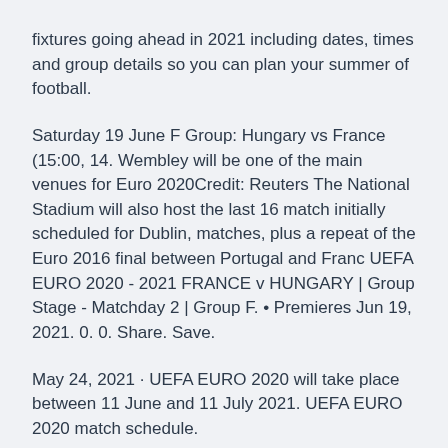fixtures going ahead in 2021 including dates, times and group details so you can plan your summer of football.
Saturday 19 June F Group: Hungary vs France (15:00, 14. Wembley will be one of the main venues for Euro 2020Credit: Reuters The National Stadium will also host the last 16 match initially scheduled for Dublin, matches, plus a repeat of the Euro 2016 final between Portugal and Franc UEFA EURO 2020 - 2021 FRANCE v HUNGARY | Group Stage - Matchday 2 | Group F. • Premieres Jun 19, 2021. 0. 0. Share. Save.
May 24, 2021 · UEFA EURO 2020 will take place between 11 June and 11 July 2021. UEFA EURO 2020 match schedule.